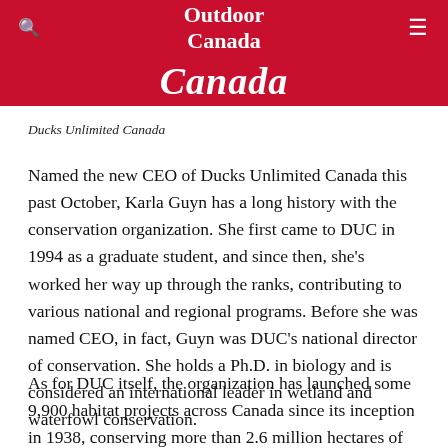Outdoor Canada
Canada
Ducks Unlimited Canada
Named the new CEO of Ducks Unlimited Canada this past October, Karla Guyn has a long history with the conservation organization. She first came to DUC in 1994 as a graduate student, and since then, she's worked her way up through the ranks, contributing to various national and regional programs. Before she was named CEO, in fact, Guyn was DUC's national director of conservation. She holds a Ph.D. in biology and is considered an international leader in wetland and waterfowl conservation.
As for DUC itself, the organization has launched some 9,900 habitat projects across Canada since its inception in 1938, conserving more than 2.6 million hectares of wetlands